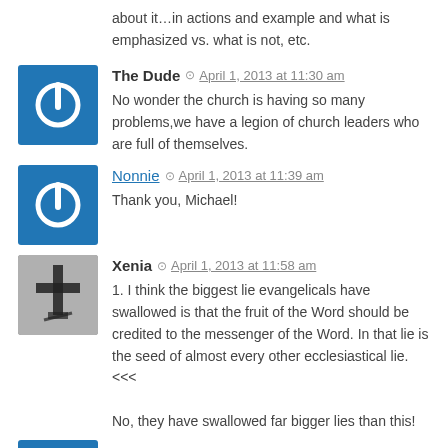about it…in actions and example and what is emphasized vs. what is not, etc.
The Dude  April 1, 2013 at 11:30 am
No wonder the church is having so many problems,we have a legion of church leaders who are full of themselves.
Nonnie  April 1, 2013 at 11:39 am
Thank you, Michael!
Xenia  April 1, 2013 at 11:58 am
1. I think the biggest lie evangelicals have swallowed is that the fruit of the Word should be credited to the messenger of the Word. In that lie is the seed of almost every other ecclesiastical lie.<<<

No, they have swallowed far bigger lies than this!
Alex  April 1, 2013 at 12:15 pm